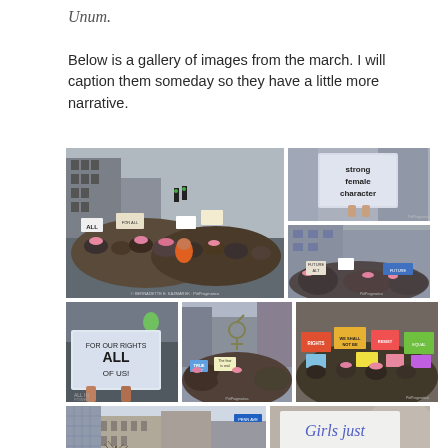Unum.
Below is a gallery of images from the march. I will caption them someday so they have a little more narrative.
[Figure (photo): Wide crowd photo of women's march on city street with signs including 'ALL', buildings visible in background]
[Figure (photo): Photo of sign reading 'strong female character' held up at march]
[Figure (photo): Crowd of marchers with signs and pink hats on city street]
[Figure (photo): Sign reading 'FOR OUR RIGHTS ALL OF US' closeup]
[Figure (photo): Crowd of march participants with colorful signs on city street]
[Figure (photo): Colorful protest signs held up in crowd]
[Figure (photo): City street with tall buildings and bare trees, march scene]
[Figure (photo): Sign reading 'Girls Just...' partially visible, blurred background]